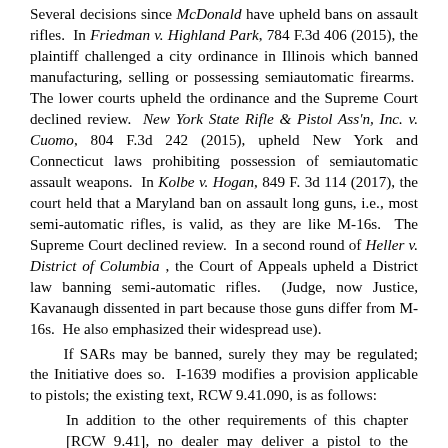Several decisions since McDonald have upheld bans on assault rifles. In Friedman v. Highland Park, 784 F.3d 406 (2015), the plaintiff challenged a city ordinance in Illinois which banned manufacturing, selling or possessing semiautomatic firearms. The lower courts upheld the ordinance and the Supreme Court declined review. New York State Rifle & Pistol Ass'n, Inc. v. Cuomo, 804 F.3d 242 (2015), upheld New York and Connecticut laws prohibiting possession of semiautomatic assault weapons. In Kolbe v. Hogan, 849 F. 3d 114 (2017), the court held that a Maryland ban on assault long guns, i.e., most semi-automatic rifles, is valid, as they are like M-16s. The Supreme Court declined review. In a second round of Heller v. District of Columbia, the Court of Appeals upheld a District law banning semi-automatic rifles. (Judge, now Justice, Kavanaugh dissented in part because those guns differ from M-16s. He also emphasized their widespread use).
If SARs may be banned, surely they may be regulated; the Initiative does so. I-1639 modifies a provision applicable to pistols; the existing text, RCW 9.41.090, is as follows:
In addition to the other requirements of this chapter [RCW 9.41], no dealer may deliver a pistol to the purchaser thereof until:
(a) The purchaser produces a valid concealed pistol license and the dealer has recorded the